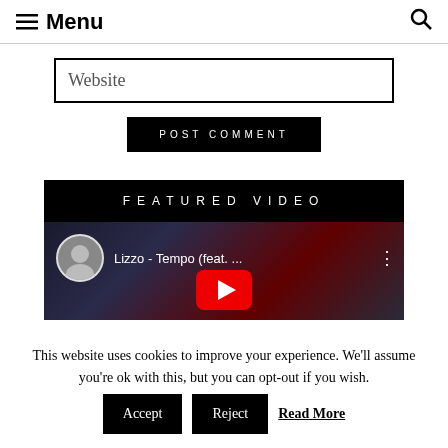≡ Menu
Website
POST COMMENT
FEATURED VIDEO
[Figure (screenshot): YouTube video thumbnail showing Lizzo - Tempo (feat. ...) with play button overlay and artist avatar]
This website uses cookies to improve your experience. We'll assume you're ok with this, but you can opt-out if you wish. Accept Reject Read More